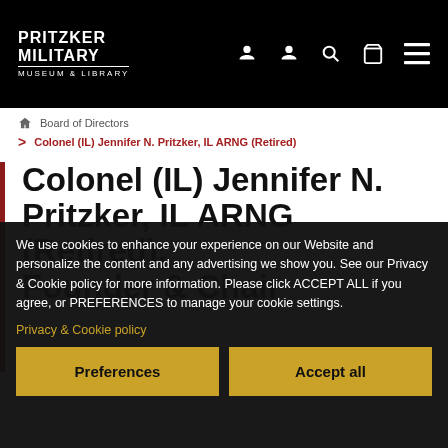PRITZKER MILITARY MUSEUM & LIBRARY
Board of Directors > Colonel (IL) Jennifer N. Pritzker, IL ARNG (Retired)
Colonel (IL) Jennifer N. Pritzker, IL ARNG (Retired), Founder & Chair
We use cookies to enhance your experience on our Website and personalize the content and any advertising we show you. See our Privacy & Cookie policy for more information. Please click ACCEPT ALL if you agree, or PREFERENCES to manage your cookie settings.
Privacy & Cookie policy
Preferences | Accept all